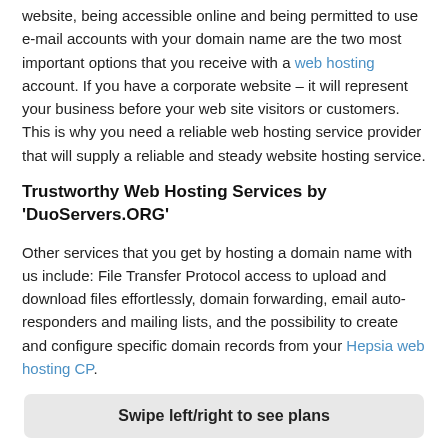website, being accessible online and being permitted to use e-mail accounts with your domain name are the two most important options that you receive with a web hosting account. If you have a corporate website – it will represent your business before your web site visitors or customers. This is why you need a reliable web hosting service provider that will supply a reliable and steady website hosting service.
Trustworthy Web Hosting Services by 'DuoServers.ORG'
Other services that you get by hosting a domain name with us include: File Transfer Protocol access to upload and download files effortlessly, domain forwarding, email auto-responders and mailing lists, and the possibility to create and configure specific domain records from your Hepsia web hosting CP.
Swipe left/right to see plans